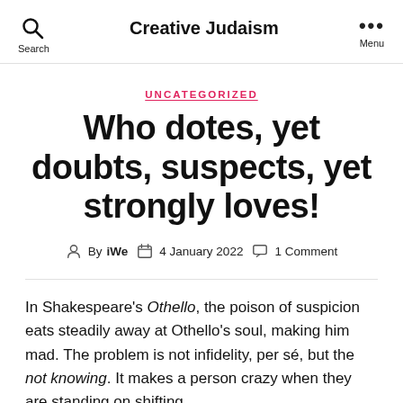Creative Judaism
UNCATEGORIZED
Who dotes, yet doubts, suspects, yet strongly loves!
By iWe  4 January 2022  1 Comment
In Shakespeare's Othello, the poison of suspicion eats steadily away at Othello's soul, making him mad. The problem is not infidelity, per sé, but the not knowing. It makes a person crazy when they are standing on shifting